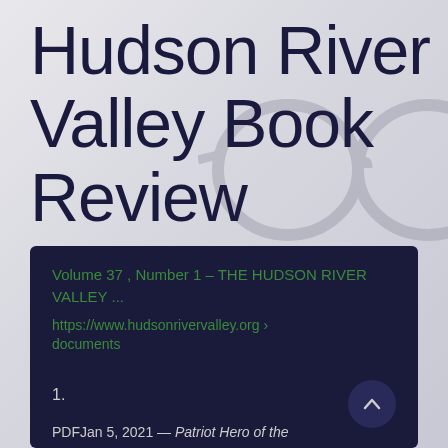Hudson River Valley Book Review
Volume 37 , Number 1 – THE HUDSON RIVER VALLEY ...
https://www.hudsonrivervalley.org › documents
1.
PDFJan 5, 2021 — Patriot Hero of the